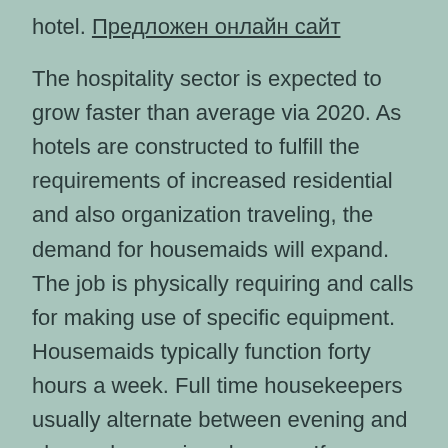hotel. Предложен онлайн сайт
The hospitality sector is expected to grow faster than average via 2020. As hotels are constructed to fulfill the requirements of increased residential and also organization traveling, the demand for housemaids will expand. The job is physically requiring and calls for making use of specific equipment. Housemaids typically function forty hours a week. Full time housekeepers usually alternate between evening and also early morning changes. If you require to work with a maid to work in a hotel, BBG Jobs can assist...